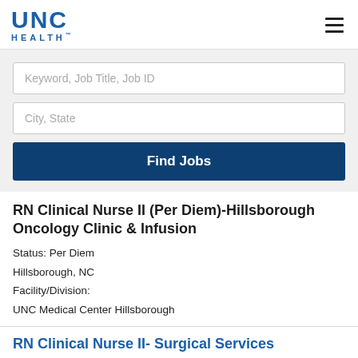[Figure (logo): UNC Health logo with blue text]
Keyword, Job Title, Job ID
City, State
Find Jobs
RN Clinical Nurse II (Per Diem)-Hillsborough Oncology Clinic & Infusion
Status: Per Diem
Hillsborough, NC
Facility/Division:
UNC Medical Center Hillsborough
RN Clinical Nurse II- Surgical Services